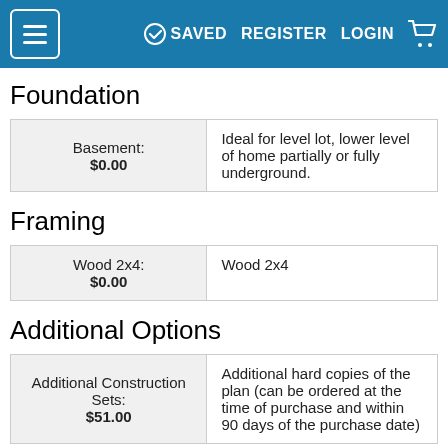SAVED  REGISTER  LOGIN
Foundation
| Option | Description |
| --- | --- |
| Basement:
$0.00 | Ideal for level lot, lower level of home partially or fully underground. |
Framing
| Option | Description |
| --- | --- |
| Wood 2x4:
$0.00 | Wood 2x4 |
Additional Options
| Option | Description |
| --- | --- |
| Additional Construction Sets:
$51.00 | Additional hard copies of the plan (can be ordered at the time of purchase and within 90 days of the purchase date) |